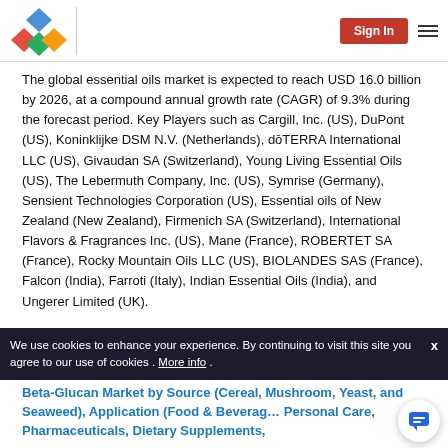Sign In
The global essential oils market is expected to reach USD 16.0 billion by 2026, at a compound annual growth rate (CAGR) of 9.3% during the forecast period. Key Players such as Cargill, Inc. (US), DuPont (US), Koninklijke DSM N.V. (Netherlands), dōTERRA International LLC (US), Givaudan SA (Switzerland), Young Living Essential Oils (US), The Lebermuth Company, Inc. (US), Symrise (Germany), Sensient Technologies Corporation (US), Essential oils of New Zealand (New Zealand), Firmenich SA (Switzerland), International Flavors & Fragrances Inc. (US), Mane (France), ROBERTET SA (France), Rocky Mountain Oils LLC (US), BIOLANDES SAS (France), Falcon (India), Farroti (Italy), Indian Essential Oils (India), and Ungerer Limited (UK).
We use cookies to enhance your experience. By continuing to visit this site you agree to our use of cookies . More info .
Beta-Glucan Market by Source (Cereal, Mushroom, Yeast, and Seaweed), Application (Food & Beverage, Personal Care, Pharmaceuticals, Dietary Supplements,